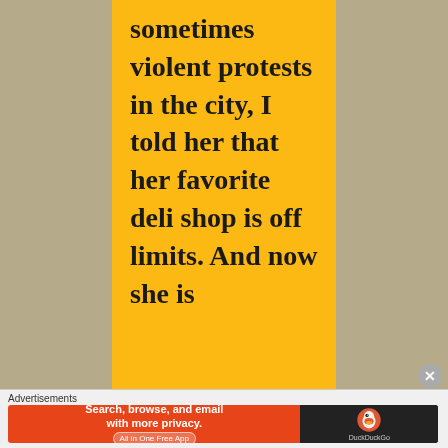sometimes violent protests in the city, I told her that her favorite deli shop is off limits. And now she is
[Figure (other): Advertisement banner for DuckDuckGo app with orange and dark background. Text reads: Search, browse, and email with more privacy. All in One Free App. DuckDuckGo logo on right side.]